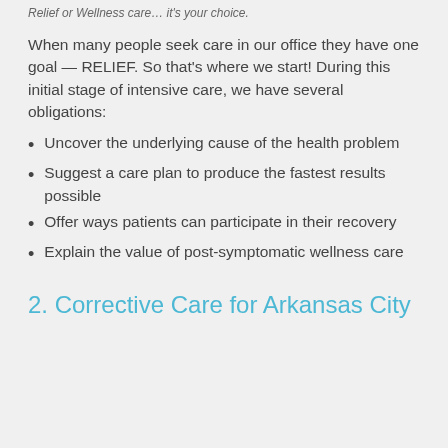Relief or Wellness care… it's your choice.
When many people seek care in our office they have one goal — RELIEF. So that's where we start! During this initial stage of intensive care, we have several obligations:
Uncover the underlying cause of the health problem
Suggest a care plan to produce the fastest results possible
Offer ways patients can participate in their recovery
Explain the value of post-symptomatic wellness care
2. Corrective Care for Arkansas City